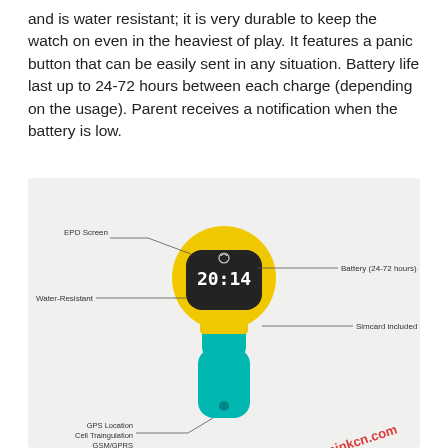and is water resistant; it is very durable to keep the watch on even in the heaviest of play. It features a panic button that can be easily sent in any situation. Battery life last up to 24-72 hours between each charge (depending on the usage). Parent receives a notification when the battery is low.
[Figure (schematic): A children's GPS smartwatch with teal/cyan strap and yellow casing, with labeled callouts: EPD Screen (top-left), Battery (24-72 hours) (top-right), Water-Resistant (left), Simcard included (right), GPS Location / Cell Traingulation / GSM/GPRS (bottom). Watermark: www.einkcn.com]